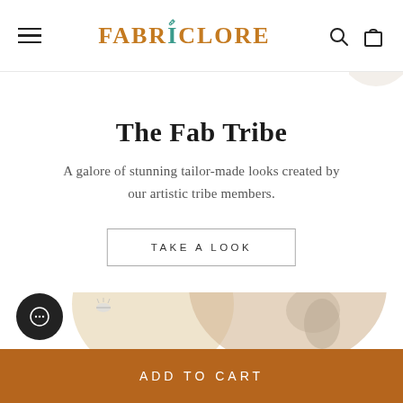Fabriclore — navigation bar with hamburger menu, logo, search and cart icons
The Fab Tribe
A galore of stunning tailor-made looks created by our artistic tribe members.
TAKE A LOOK
[Figure (illustration): Decorative background with tan/beige circular shapes and a partial image of a person wearing draped fabric, with a small bee illustration on the left side]
ADD TO CART